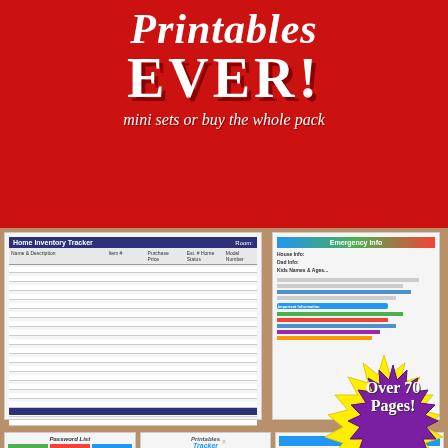Printables EVER!
mini sets or buy the whole pack
[Figure (photo): Promotional image collage showing printable pages including Home Inventory Tracker, Emergency Info sheet, Password tracker, Printables Tracker with floral design, and Top Recipes tracker sheets on a wood background]
Over 70 Pages!